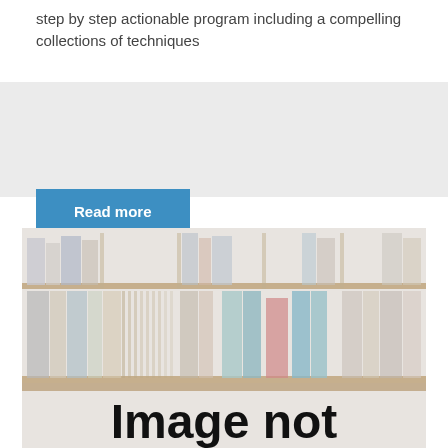step by step actionable program including a compelling collections of techniques
Read more
[Figure (photo): Bookshelf with various books, with overlay text 'Image not']